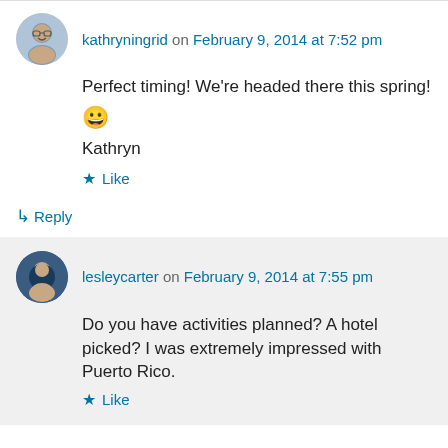kathryningrid on February 9, 2014 at 7:52 pm
Perfect timing! We're headed there this spring! 😀 Kathryn
★ Like
↳ Reply
lesleycarter on February 9, 2014 at 7:55 pm
Do you have activities planned? A hotel picked? I was extremely impressed with Puerto Rico.
★ Like